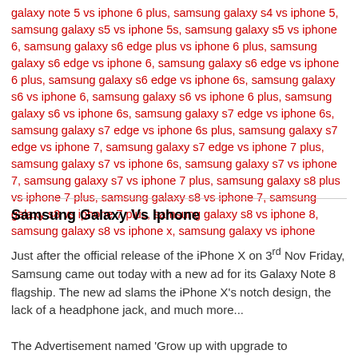galaxy note 5 vs iphone 6 plus, samsung galaxy s4 vs iphone 5, samsung galaxy s5 vs iphone 5s, samsung galaxy s5 vs iphone 6, samsung galaxy s6 edge plus vs iphone 6 plus, samsung galaxy s6 edge vs iphone 6, samsung galaxy s6 edge vs iphone 6 plus, samsung galaxy s6 edge vs iphone 6s, samsung galaxy s6 vs iphone 6, samsung galaxy s6 vs iphone 6 plus, samsung galaxy s6 vs iphone 6s, samsung galaxy s7 edge vs iphone 6s, samsung galaxy s7 edge vs iphone 6s plus, samsung galaxy s7 edge vs iphone 7, samsung galaxy s7 edge vs iphone 7 plus, samsung galaxy s7 vs iphone 6s, samsung galaxy s7 vs iphone 7, samsung galaxy s7 vs iphone 7 plus, samsung galaxy s8 plus vs iphone 7 plus, samsung galaxy s8 vs iphone 7, samsung galaxy s8 vs iphone 7 plus, samsung galaxy s8 vs iphone 8, samsung galaxy s8 vs iphone x, samsung galaxy vs iphone
Samsung Galaxy Vs Iphone
Just after the official release of the iPhone X on 3rd Nov Friday, Samsung came out today with a new ad for its Galaxy Note 8 flagship. The new ad slams the iPhone X's notch design, the lack of a headphone jack, and much more...
The Advertisement named 'Grow up with upgrade to